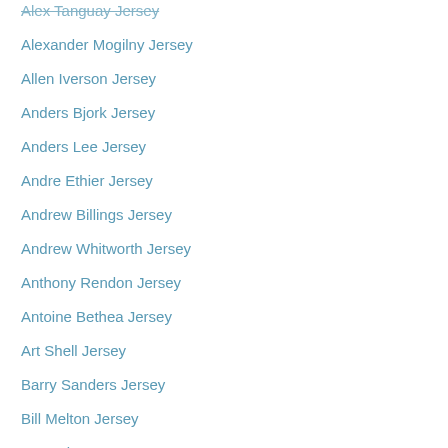Alex Tanguay Jersey
Alexander Mogilny Jersey
Allen Iverson Jersey
Anders Bjork Jersey
Anders Lee Jersey
Andre Ethier Jersey
Andrew Billings Jersey
Andrew Whitworth Jersey
Anthony Rendon Jersey
Antoine Bethea Jersey
Art Shell Jersey
Barry Sanders Jersey
Bill Melton Jersey
Bo Jackson Jersey
Bob Griese Jersey